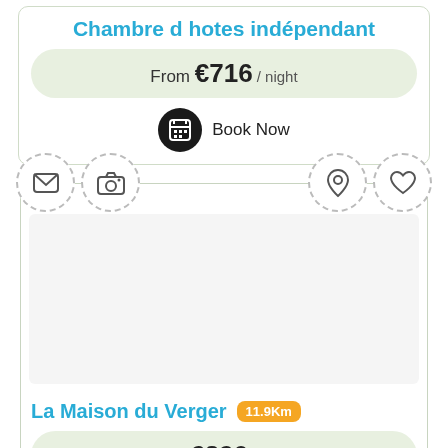Chambre d hotes indépendant
From €716 / night
Book Now
[Figure (illustration): Four circular dashed icon buttons: envelope/mail, camera, map pin/location, heart/favorite]
[Figure (photo): Property listing photo area (blank/loading)]
La Maison du Verger 11.9Km
From €390 / week
View Photos
Contact